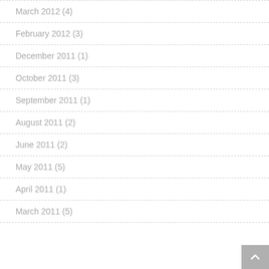March 2012 (4)
February 2012 (3)
December 2011 (1)
October 2011 (3)
September 2011 (1)
August 2011 (2)
June 2011 (2)
May 2011 (5)
April 2011 (1)
March 2011 (5)